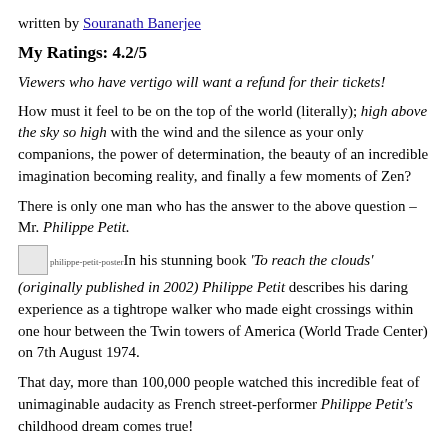written by Souranath Banerjee
My Ratings: 4.2/5
Viewers who have vertigo will want a refund for their tickets!
How must it feel to be on the top of the world (literally); high above the sky so high with the wind and the silence as your only companions, the power of determination, the beauty of an incredible imagination becoming reality, and finally a few moments of Zen?
There is only one man who has the answer to the above question – Mr. Philippe Petit.
In his stunning book 'To reach the clouds' (originally published in 2002) Philippe Petit describes his daring experience as a tightrope walker who made eight crossings within one hour between the Twin towers of America (World Trade Center) on 7th August 1974.
That day, more than 100,000 people watched this incredible feat of unimaginable audacity as French street-performer Philippe Petit's childhood dream comes true!